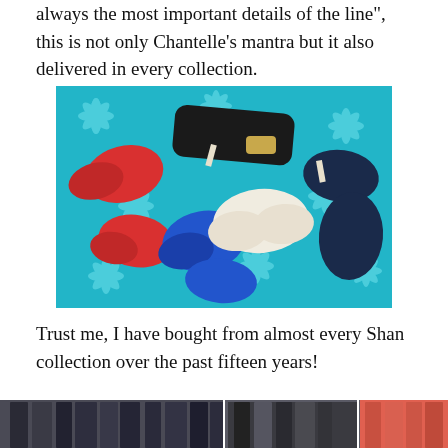always the most important details of the line", this is not only Chantelle’s mantra but it also delivered in every collection.
[Figure (photo): Flat lay of multiple swimsuits/bikinis in red, black, blue/cobalt, and white/cream colors arranged on a teal fabric with white starfish pattern]
Trust me, I have bought from almost every Shan collection over the past fifteen years!
[Figure (photo): Two side-by-side photos of clothing racks with dark and patterned garments hanging, with a third partial image showing coral/pink garments on right]